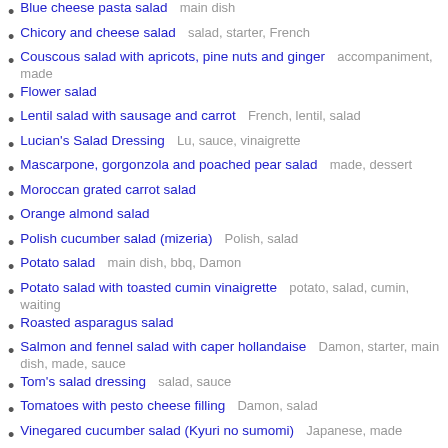Blue cheese pasta salad  main dish
Chicory and cheese salad  salad, starter, French
Couscous salad with apricots, pine nuts and ginger  accompaniment, made
Flower salad
Lentil salad with sausage and carrot  French, lentil, salad
Lucian's Salad Dressing  Lu, sauce, vinaigrette
Mascarpone, gorgonzola and poached pear salad  made, dessert
Moroccan grated carrot salad
Orange almond salad
Polish cucumber salad (mizeria)  Polish, salad
Potato salad  main dish, bbq, Damon
Potato salad with toasted cumin vinaigrette  potato, salad, cumin, waiting
Roasted asparagus salad
Salmon and fennel salad with caper hollandaise  Damon, starter, main dish, made, sauce
Tom's salad dressing  salad, sauce
Tomatoes with pesto cheese filling  Damon, salad
Vinegared cucumber salad (Kyuri no sumomi)  Japanese, made
Yu Sheng (tossed fish salad)  Singaporean, fish, salad,